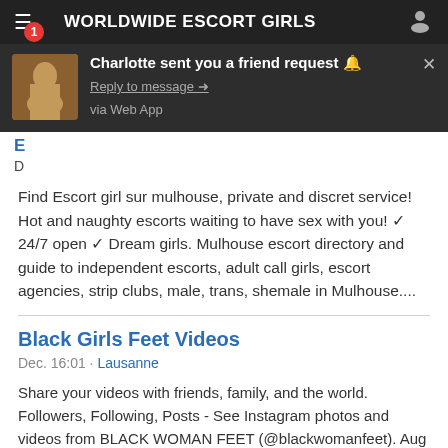WORLDWIDE ESCORT GIRLS
[Figure (screenshot): Push notification popup showing Charlotte sent you a friend request with a reply link and via Web App label]
Find Escort girl sur mulhouse, private and discret service! Hot and naughty escorts waiting to have sex with you! ✓ 24/7 open ✓ Dream girls. Mulhouse escort directory and guide to independent escorts, adult call girls, escort agencies, strip clubs, male, trans, shemale in Mulhouse....
Black Girls Feet Videos
Dec. 16:01 · Lausanne
Share your videos with friends, family, and the world. Followers, Following, Posts - See Instagram photos and videos from BLACK WOMAN FEET (@blackwomanfeet). Aug 13, - Enjoy the videos and music you love, upload original content, Girls In Platform Flip Flops on Instagram: "Her feet are just so perfect! Apr 29, - Explore ♥'s board "Beautiful black women feet♥", followed by people on Pinterest. See